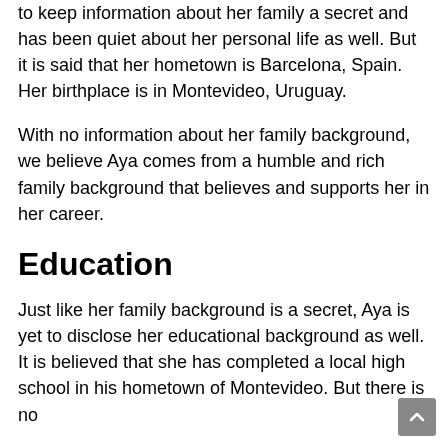to keep information about her family a secret and has been quiet about her personal life as well. But it is said that her hometown is Barcelona, Spain. Her birthplace is in Montevideo, Uruguay.
With no information about her family background, we believe Aya comes from a humble and rich family background that believes and supports her in her career.
Education
Just like her family background is a secret, Aya is yet to disclose her educational background as well. It is believed that she has completed a local high school in his hometown of Montevideo. But there is no